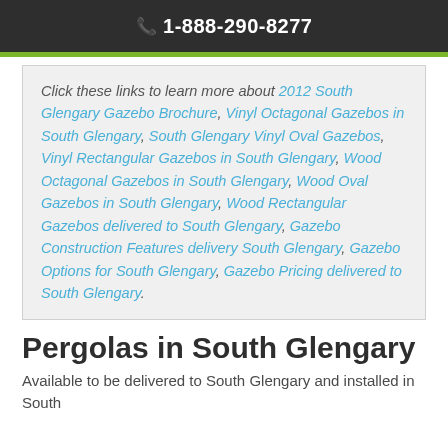1-888-290-8277
Click these links to learn more about 2012 South Glengary Gazebo Brochure, Vinyl Octagonal Gazebos in South Glengary, South Glengary Vinyl Oval Gazebos, Vinyl Rectangular Gazebos in South Glengary, Wood Octagonal Gazebos in South Glengary, Wood Oval Gazebos in South Glengary, Wood Rectangular Gazebos delivered to South Glengary, Gazebo Construction Features delivery South Glengary, Gazebo Options for South Glengary, Gazebo Pricing delivered to South Glengary.
Pergolas in South Glengary
Available to be delivered to South Glengary and installed in South